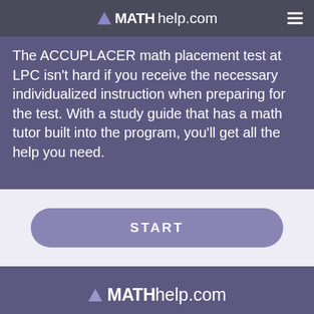MATHhelp.com
The ACCUPLACER math placement test at LPC isn't hard if you receive the necessary individualized instruction when preparing for the test. With a study guide that has a math tutor built into the program, you'll get all the help you need.
[Figure (other): START button - a rounded pill-shaped button with text START in white on a purple/mauve background]
MATHhelp.com
About us   Our Teachers   Press   Reviews   Contact   Support